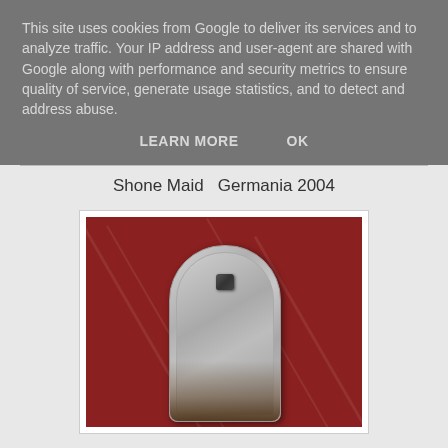This site uses cookies from Google to deliver its services and to analyze traffic. Your IP address and user-agent are shared with Google along with performance and security metrics to ensure quality of service, generate usage statistics, and to detect and address abuse.
LEARN MORE   OK
Shone Maid  Germania 2004
[Figure (photo): A metal badge or brooch with an arch/tombstone shape, featuring a small animal head rivet at top, worn patina at bottom, against a red scratched background.]